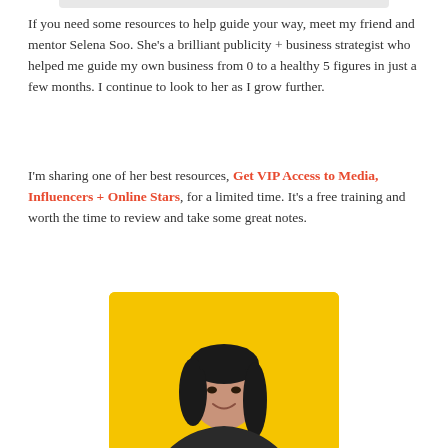If you need some resources to help guide your way, meet my friend and mentor Selena Soo. She's a brilliant publicity + business strategist who helped me guide my own business from 0 to a healthy 5 figures in just a few months. I continue to look to her as I grow further.
I'm sharing one of her best resources, Get VIP Access to Media, Influencers + Online Stars, for a limited time. It's a free training and worth the time to review and take some great notes.
[Figure (photo): Photo of a young woman with dark hair smiling, against a bright yellow background]